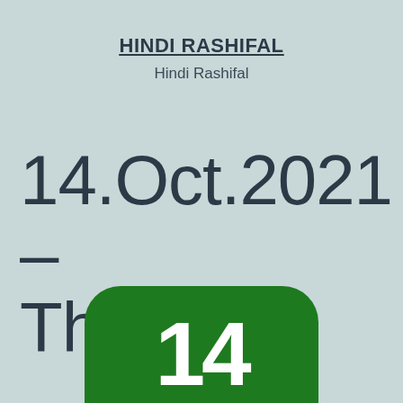HINDI RASHIFAL
Hindi Rashifal
14.Oct.2021 – Thursday
[Figure (illustration): Green rounded rectangle (calendar icon) with the number 14 in white text, cropped at bottom of page]